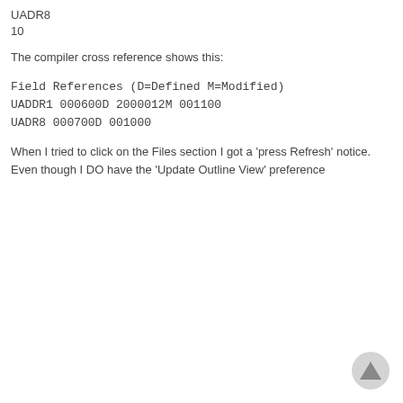UADR8
10
The compiler cross reference shows this:
Field References (D=Defined M=Modified)
UADDR1 000600D 2000012M 001100
UADR8 000700D 001000
When I tried to click on the Files section I got a 'press Refresh' notice. Even though I DO have the 'Update Outline View' preference